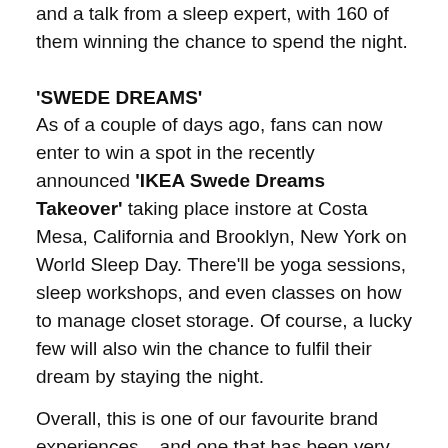and a talk from a sleep expert, with 160 of them winning the chance to spend the night.
'SWEDE DREAMS'
As of a couple of days ago, fans can now enter to win a spot in the recently announced 'IKEA Swede Dreams Takeover' taking place instore at Costa Mesa, California and Brooklyn, New York on World Sleep Day. There'll be yoga sessions, sleep workshops, and even classes on how to manage closet storage. Of course, a lucky few will also win the chance to fulfil their dream by staying the night.
Overall, this is one of our favourite brand experiences – and one that has been very successful for IKEA. Its an incredibly clever experiential marketing strategy that immerses